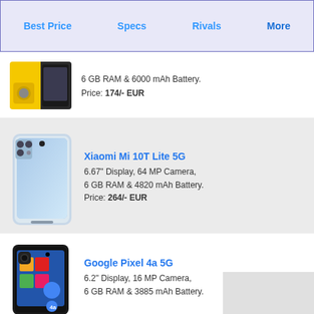Best Price  Specs  Rivals  More
6 GB RAM & 6000 mAh Battery.
Price: 174/- EUR
Xiaomi Mi 10T Lite 5G
6.67" Display, 64 MP Camera,
6 GB RAM & 4820 mAh Battery.
Price: 264/- EUR
Google Pixel 4a 5G
6.2" Display, 16 MP Camera,
6 GB RAM & 3885 mAh Battery.